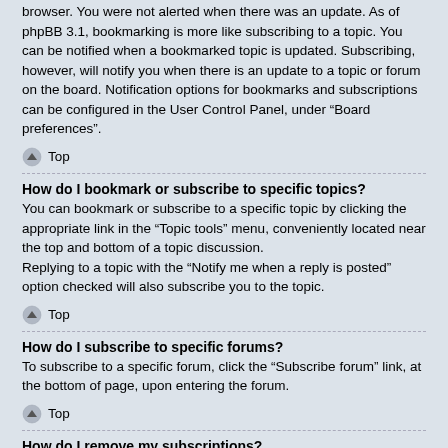browser. You were not alerted when there was an update. As of phpBB 3.1, bookmarking is more like subscribing to a topic. You can be notified when a bookmarked topic is updated. Subscribing, however, will notify you when there is an update to a topic or forum on the board. Notification options for bookmarks and subscriptions can be configured in the User Control Panel, under “Board preferences”.
Top
How do I bookmark or subscribe to specific topics?
You can bookmark or subscribe to a specific topic by clicking the appropriate link in the “Topic tools” menu, conveniently located near the top and bottom of a topic discussion.
Replying to a topic with the “Notify me when a reply is posted” option checked will also subscribe you to the topic.
Top
How do I subscribe to specific forums?
To subscribe to a specific forum, click the “Subscribe forum” link, at the bottom of page, upon entering the forum.
Top
How do I remove my subscriptions?
To remove your subscriptions, go to your User Control Panel and follow the links